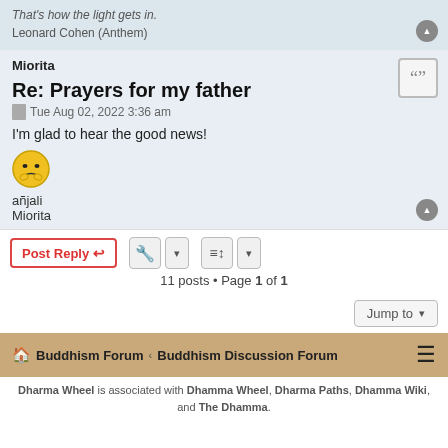That's how the light gets in.
Leonard Cohen (Anthem)
Miorita
Re: Prayers for my father
Tue Aug 02, 2022 3:36 am
I'm glad to hear the good news!
añjali
Miorita
11 posts • Page 1 of 1
Jump to
Buddhism Forum ‹ Buddhism Discussion Forum
Dharma Wheel is associated with Dhamma Wheel, Dharma Paths, Dhamma Wiki, and The Dhamma.